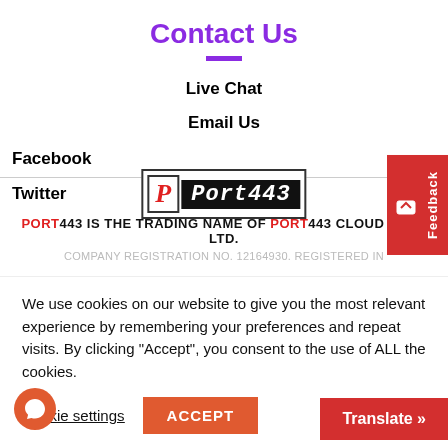Contact Us
Live Chat
Email Us
Facebook
Twitter
[Figure (logo): Port443 logo: white box with red italic P, black box with Port443 text]
PORT443 IS THE TRADING NAME OF PORT443 CLOUD HOST LTD.
COMPANY REGISTRATION NO. 12164930. REGISTERED IN
We use cookies on our website to give you the most relevant experience by remembering your preferences and repeat visits. By clicking “Accept”, you consent to the use of ALL the cookies.
Cookie settings
ACCEPT
Translate »